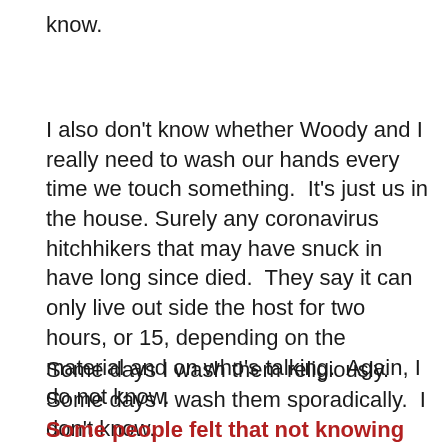know.
I also don't know whether Woody and I  really need to wash our hands every time we touch something.  It's just us in the house. Surely any coronavirus hitchhikers that may have snuck in have long since died.  They say it can only live out side the host for two hours, or 15, depending on the material and on who's talking.  Again, I do not know.
Some days I wash them religiously.  Some days I wash them sporadically.  I don't know.
Some people felt that not knowing